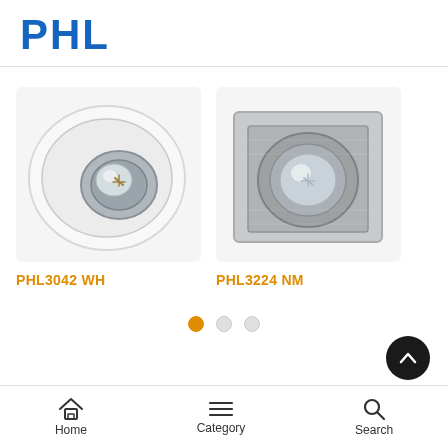PHL
[Figure (photo): PHL3042 WH – round white recessed spotlight/downlight fitting with adjustable halogen MR16 bulb]
PHL3042 WH
[Figure (photo): PHL3224 NM – square nickel/chrome brushed metal recessed spotlight/downlight fitting with halogen MR16 bulb]
PHL3224 NM
Home   Category   Search